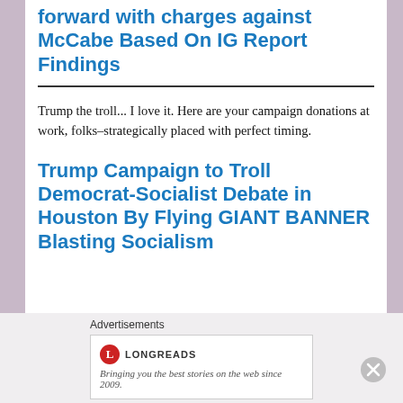forward with charges against McCabe Based On IG Report Findings
Trump the troll... I love it. Here are your campaign donations at work, folks–strategically placed with perfect timing.
Trump Campaign to Troll Democrat-Socialist Debate in Houston By Flying GIANT BANNER Blasting Socialism
Advertisements
[Figure (logo): Longreads logo with red circle containing L, text reads: Bringing you the best stories on the web since 2009.]